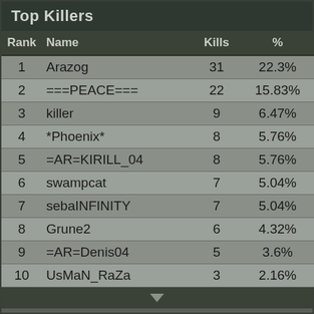Top Killers
| Rank | Name | Kills | % | Longest |
| --- | --- | --- | --- | --- |
| 1 | Arazog | 31 | 22.3% | 651m |
| 2 | ===PEACE=== | 22 | 15.83% | 334m |
| 3 | killer | 9 | 6.47% | 188m |
| 4 | *Phoenix* | 8 | 5.76% | 392m |
| 5 | =AR=KIRILL_04 | 8 | 5.76% | 180m |
| 6 | swampcat | 7 | 5.04% | 186m |
| 7 | sebaINFINITY | 7 | 5.04% | 240m |
| 8 | Grune2 | 6 | 4.32% | 410m |
| 9 | =AR=Denis04 | 5 | 3.6% | 179m |
| 10 | UsMaN_RaZa | 3 | 2.16% | 307m |